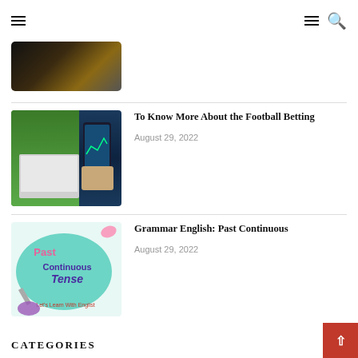Navigation bar with hamburger menu (left) and hamburger + search icons (right)
[Figure (photo): Partial dark image strip at top, cropped]
[Figure (photo): Person holding smartphone with trading/betting app in front of laptop, green background]
To Know More About the Football Betting
August 29, 2022
[Figure (illustration): Educational graphic for Past Continuous Tense with teal bubble shape, pink and purple text on light blue-green background]
Grammar English: Past Continuous
August 29, 2022
CATEGORIES